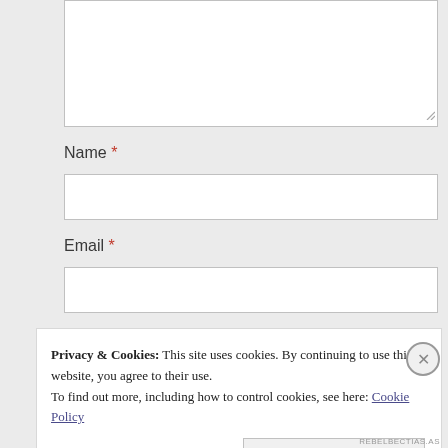[Figure (screenshot): Partially visible text area input box (comment field), white background with light gray border, resize handle at bottom right corner.]
Name *
[Figure (screenshot): Text input field for Name, white background with light gray border.]
Email *
[Figure (screenshot): Text input field for Email, white background with light gray border.]
Privacy & Cookies: This site uses cookies. By continuing to use this website, you agree to their use.
To find out more, including how to control cookies, see here: Cookie Policy
Close and accept